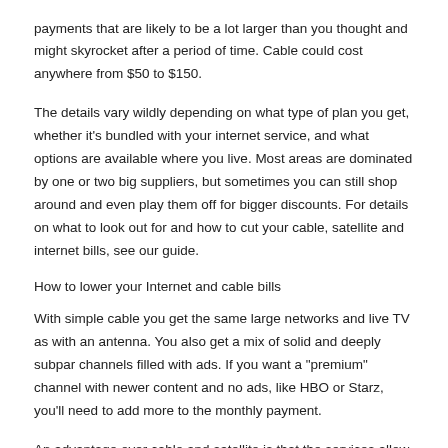payments that are likely to be a lot larger than you thought and might skyrocket after a period of time. Cable could cost anywhere from $50 to $150.
The details vary wildly depending on what type of plan you get, whether it's bundled with your internet service, and what options are available where you live. Most areas are dominated by one or two big suppliers, but sometimes you can still shop around and even play them off for bigger discounts. For details on what to look out for and how to cut your cable, satellite and internet bills, see our guide.
How to lower your Internet and cable bills
With simple cable you get the same large networks and live TV as with an antenna. You also get a mix of solid and deeply subpar channels filled with ads. If you want a "premium" channel with newer content and no ads, like HBO or Starz, you'll need to add more to the monthly payment.
An advantage over cable and satellite is that the services allow for some on-